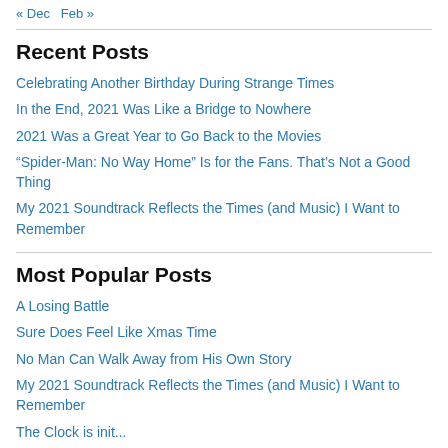« Dec   Feb »
Recent Posts
Celebrating Another Birthday During Strange Times
In the End, 2021 Was Like a Bridge to Nowhere
2021 Was a Great Year to Go Back to the Movies
“Spider-Man: No Way Home” Is for the Fans. That’s Not a Good Thing
My 2021 Soundtrack Reflects the Times (and Music) I Want to Remember
Most Popular Posts
A Losing Battle
Sure Does Feel Like Xmas Time
No Man Can Walk Away from His Own Story
My 2021 Soundtrack Reflects the Times (and Music) I Want to Remember
The Clock is ticking...